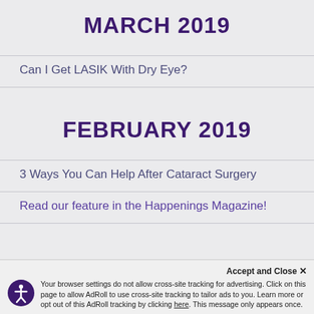MARCH 2019
Can I Get LASIK With Dry Eye?
FEBRUARY 2019
3 Ways You Can Help After Cataract Surgery
Read our feature in the Happenings Magazine!
Your browser settings do not allow cross-site tracking for advertising. Click on this page to allow AdRoll to use cross-site tracking to tailor ads to you. Learn more or opt out of this AdRoll tracking by clicking here. This message only appears once.